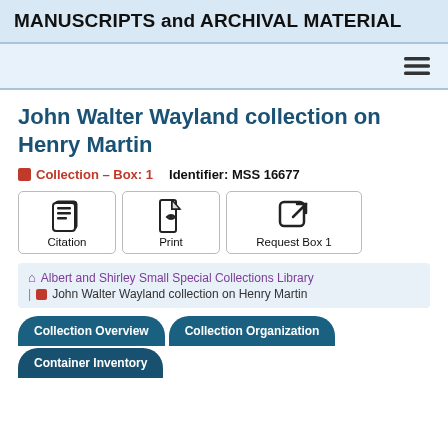MANUSCRIPTS and ARCHIVAL MATERIAL
[Figure (screenshot): Navigation bar with hamburger menu icon]
John Walter Wayland collection on Henry Martin
Collection – Box: 1   Identifier: MSS 16677
[Figure (infographic): Three action buttons: Citation (book icon), Print (PDF icon), Request Box 1 (external link icon)]
Albert and Shirley Small Special Collections Library | John Walter Wayland collection on Henry Martin
Collection Overview   Collection Organization   Container Inventory